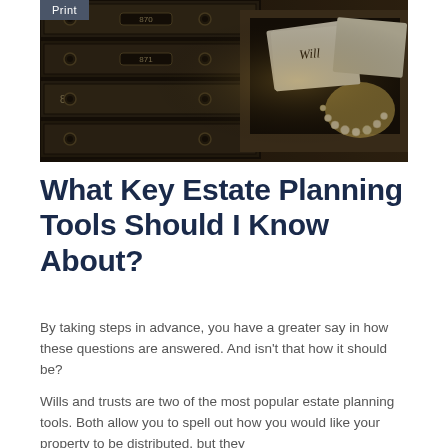Print
[Figure (photo): A dark photograph of safe deposit boxes with numbers 870 and 871 visible. One drawer is open revealing a document labeled 'Will', a pearl necklace, and other papers/valuables.]
What Key Estate Planning Tools Should I Know About?
By taking steps in advance, you have a greater say in how these questions are answered. And isn't that how it should be?
Wills and trusts are two of the most popular estate planning tools. Both allow you to spell out how you would like your property to be distributed, but they